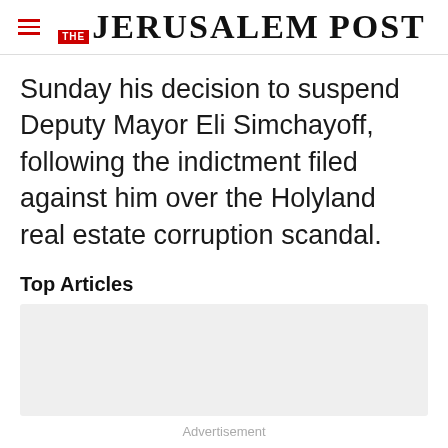THE JERUSALEM POST
Sunday his decision to suspend Deputy Mayor Eli Simchayoff, following the indictment filed against him over the Holyland real estate corruption scandal.
Top Articles
[Figure (other): Advertisement placeholder box (light grey rectangle)]
Advertisement